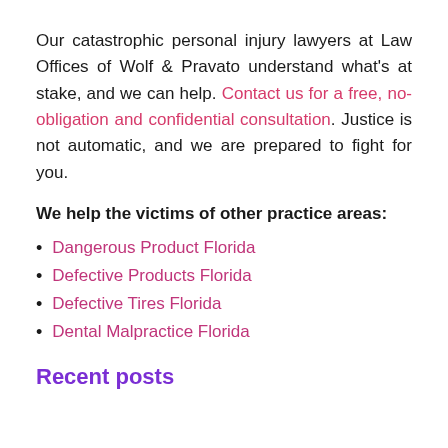Our catastrophic personal injury lawyers at Law Offices of Wolf & Pravato understand what's at stake, and we can help. Contact us for a free, no-obligation and confidential consultation. Justice is not automatic, and we are prepared to fight for you.
We help the victims of other practice areas:
Dangerous Product Florida
Defective Products Florida
Defective Tires Florida
Dental Malpractice Florida
Recent posts